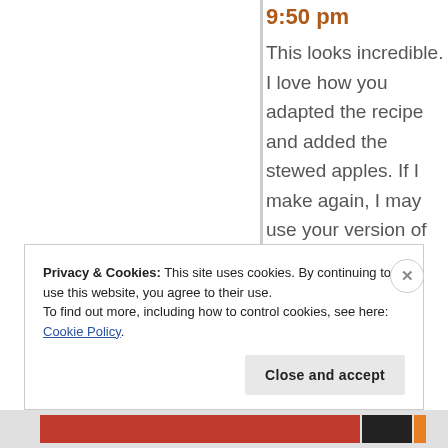9:50 pm
This looks incredible. I love how you adapted the recipe and added the stewed apples. If I make again, I may use your version of the recipe. 🙂 It's
Privacy & Cookies: This site uses cookies. By continuing to use this website, you agree to their use.
To find out more, including how to control cookies, see here: Cookie Policy.
Close and accept